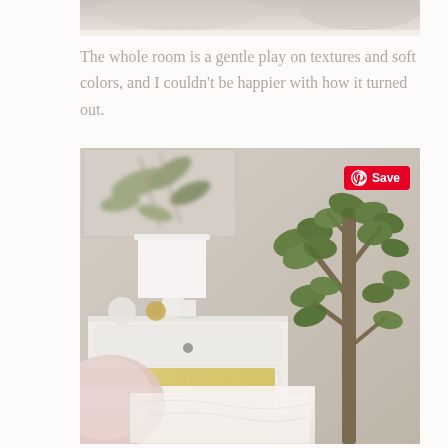[Figure (photo): Partial top edge of a bedroom photo — soft blurred background with light beige/warm tones]
The whole room is a gentle play on textures and soft colors, and I couldn't be happier with how it turned out.
[Figure (photo): Bedroom interior with a white dresser, white lamp, small gold and white decorative items, a potted olive/ficus tree on the right, floral wall art in upper left, a gold bed frame and white linens with a pink pillow in the foreground, and a Pinterest Save button overlay in the upper right corner.]